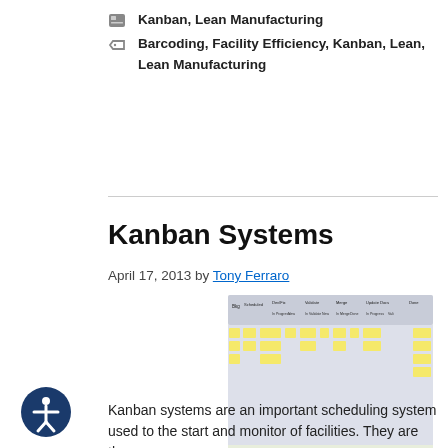Kanban, Lean Manufacturing
Barcoding, Facility Efficiency, Kanban, Lean, Lean Manufacturing
Kanban Systems
April 17, 2013 by Tony Ferraro
[Figure (infographic): Kanban board showing columns: Backlog, Scheduled, Development/Fix (In Progress, New), Validate (In Validation, New), Merge (In Merge, Done), Update Docs (In Progress, Vali), Done; with yellow sticky note cards and a FLOW arrow at the bottom]
Kanban systems are an important scheduling system used to the start and monitor of facilities. They are the...